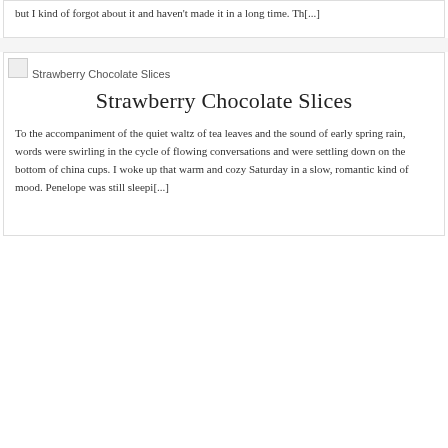but I kind of forgot about it and haven't made it in a long time. Th[...]
[Figure (photo): Broken image placeholder with alt text 'Strawberry Chocolate Slices']
Strawberry Chocolate Slices
To the accompaniment of the quiet waltz of tea leaves and the sound of early spring rain, words were swirling in the cycle of flowing conversations and were settling down on the bottom of china cups. I woke up that warm and cozy Saturday in a slow, romantic kind of mood. Penelope was still sleepi[...]